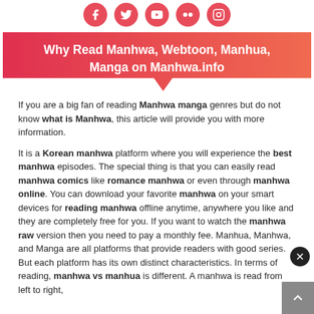[Figure (illustration): Row of five circular social media icons (Facebook, Twitter, YouTube, Flickr, Instagram) in red/pink color on white background]
Why Read Manhwa, Webtoon, Manhua, Manga on Manhwa.info
If you are a big fan of reading Manhwa manga genres but do not know what is Manhwa, this article will provide you with more information.
It is a Korean manhwa platform where you will experience the best manhwa episodes. The special thing is that you can easily read manhwa comics like romance manhwa or even through manhwa online. You can download your favorite manhwa on your smart devices for reading manhwa offline anytime, anywhere you like and they are completely free for you. If you want to watch the manhwa raw version then you need to pay a monthly fee. Manhua, Manhwa, and Manga are all platforms that provide readers with good series. But each platform has its own distinct characteristics. In terms of reading, manhwa vs manhua is different. A manhwa is read from left to right,